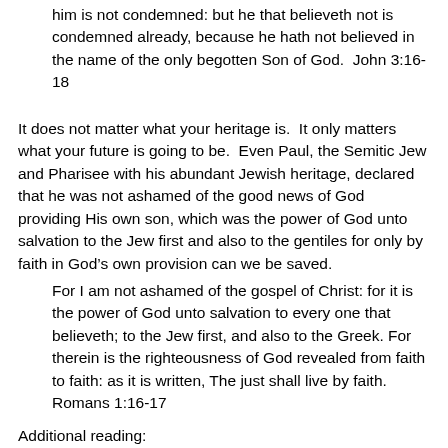him is not condemned: but he that believeth not is condemned already, because he hath not believed in the name of the only begotten Son of God.  John 3:16-18
It does not matter what your heritage is.  It only matters what your future is going to be.  Even Paul, the Semitic Jew and Pharisee with his abundant Jewish heritage, declared that he was not ashamed of the good news of God providing His own son, which was the power of God unto salvation to the Jew first and also to the gentiles for only by faith in God’s own provision can we be saved.
For I am not ashamed of the gospel of Christ: for it is the power of God unto salvation to every one that believeth; to the Jew first, and also to the Greek. For therein is the righteousness of God revealed from faith to faith: as it is written, The just shall live by faith.  Romans 1:16-17
Additional reading: